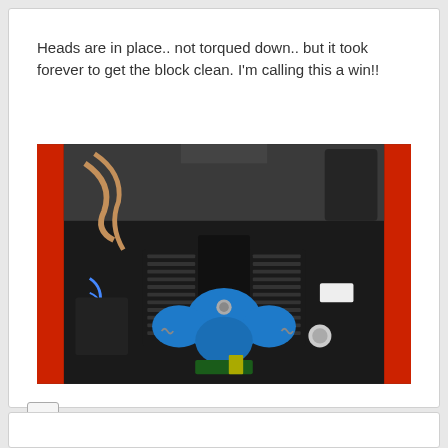Heads are in place.. not torqued down.. but it took forever to get the block clean. I'm calling this a win!!
[Figure (photo): Engine bay of a car with V8 engine visible, heads placed (not torqued), blue painted engine components including water pump and timing cover, set against a black engine bay with red car body visible at edges.]
+ Quote